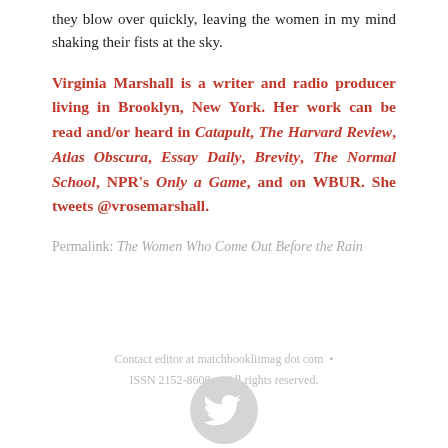they blow over quickly, leaving the women in my mind shaking their fists at the sky.
Virginia Marshall is a writer and radio producer living in Brooklyn, New York. Her work can be read and/or heard in Catapult, The Harvard Review, Atlas Obscura, Essay Daily, Brevity, The Normal School, NPR's Only a Game, and on WBUR. She tweets @vrosemarshall.
Permalink: The Women Who Come Out Before the Rain
Contact editor at matchbooklitmag dot com • ISSN 2152-8608 • All rights reserved.